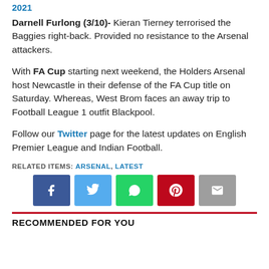2021
Darnell Furlong (3/10)- Kieran Tierney terrorised the Baggies right-back. Provided no resistance to the Arsenal attackers.
With FA Cup starting next weekend, the Holders Arsenal host Newcastle in their defense of the FA Cup title on Saturday. Whereas, West Brom faces an away trip to Football League 1 outfit Blackpool.
Follow our Twitter page for the latest updates on English Premier League and Indian Football.
RELATED ITEMS: ARSENAL, LATEST
[Figure (infographic): Social share buttons: Facebook (blue), Twitter (light blue), WhatsApp (green), Pinterest (red), Email (grey)]
RECOMMENDED FOR YOU